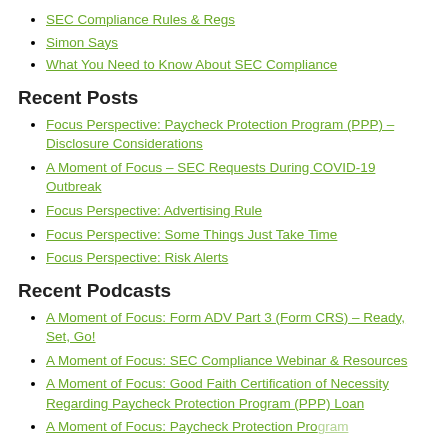SEC Compliance Rules & Regs
Simon Says
What You Need to Know About SEC Compliance
Recent Posts
Focus Perspective: Paycheck Protection Program (PPP) – Disclosure Considerations
A Moment of Focus – SEC Requests During COVID-19 Outbreak
Focus Perspective: Advertising Rule
Focus Perspective: Some Things Just Take Time
Focus Perspective: Risk Alerts
Recent Podcasts
A Moment of Focus: Form ADV Part 3 (Form CRS) – Ready, Set, Go!
A Moment of Focus: SEC Compliance Webinar & Resources
A Moment of Focus: Good Faith Certification of Necessity Regarding Paycheck Protection Program (PPP) Loan
A Moment of Focus: Paycheck Protection Program…